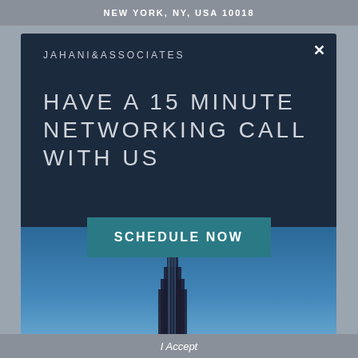NEW YORK, NY, USA 10018
JAHANI&ASSOCIATES
HAVE A 15 MINUTE NETWORKING CALL WITH US
[Figure (screenshot): A dark navy modal dialog box with a call-to-action to schedule a 15 minute networking call. Contains brand name JAHANI&ASSOCIATES, headline text, a teal SCHEDULE NOW button, and a background photo of a blue sky with a building (likely One World Trade Center).]
SCHEDULE NOW
I Accept